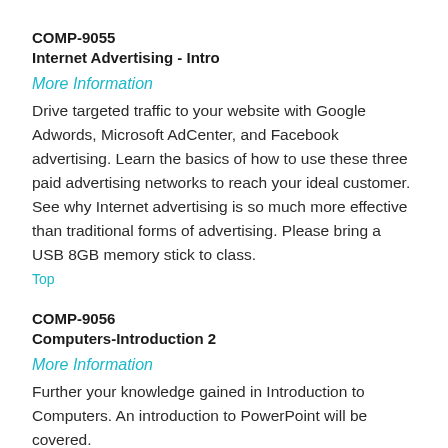COMP-9055
Internet Advertising - Intro
More Information
Drive targeted traffic to your website with Google Adwords, Microsoft AdCenter, and Facebook advertising. Learn the basics of how to use these three paid advertising networks to reach your ideal customer. See why Internet advertising is so much more effective than traditional forms of advertising. Please bring a USB 8GB memory stick to class.
Top
COMP-9056
Computers-Introduction 2
More Information
Further your knowledge gained in Introduction to Computers. An introduction to PowerPoint will be covered.